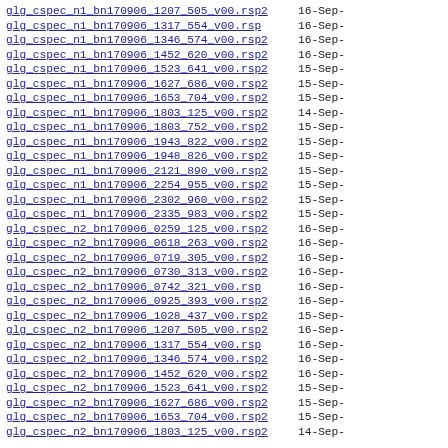glg_cspec_n1_bn170906_1207_505_v00.rsp2  16-Sep-
glg_cspec_n1_bn170906_1317_554_v00.rsp   16-Sep-
glg_cspec_n1_bn170906_1346_574_v00.rsp2  16-Sep-
glg_cspec_n1_bn170906_1452_620_v00.rsp2  16-Sep-
glg_cspec_n1_bn170906_1523_641_v00.rsp2  15-Sep-
glg_cspec_n1_bn170906_1627_686_v00.rsp2  15-Sep-
glg_cspec_n1_bn170906_1653_704_v00.rsp2  15-Sep-
glg_cspec_n1_bn170906_1803_125_v00.rsp2  14-Sep-
glg_cspec_n1_bn170906_1803_752_v00.rsp2  15-Sep-
glg_cspec_n1_bn170906_1943_822_v00.rsp2  15-Sep-
glg_cspec_n1_bn170906_1948_826_v00.rsp2  15-Sep-
glg_cspec_n1_bn170906_2121_890_v00.rsp2  15-Sep-
glg_cspec_n1_bn170906_2254_955_v00.rsp2  15-Sep-
glg_cspec_n1_bn170906_2302_960_v00.rsp2  15-Sep-
glg_cspec_n1_bn170906_2335_983_v00.rsp2  15-Sep-
glg_cspec_n2_bn170906_0259_125_v00.rsp2  16-Sep-
glg_cspec_n2_bn170906_0618_263_v00.rsp2  16-Sep-
glg_cspec_n2_bn170906_0719_305_v00.rsp2  16-Sep-
glg_cspec_n2_bn170906_0730_313_v00.rsp2  16-Sep-
glg_cspec_n2_bn170906_0742_321_v00.rsp   16-Sep-
glg_cspec_n2_bn170906_0925_393_v00.rsp2  16-Sep-
glg_cspec_n2_bn170906_1028_437_v00.rsp2  15-Sep-
glg_cspec_n2_bn170906_1207_505_v00.rsp2  16-Sep-
glg_cspec_n2_bn170906_1317_554_v00.rsp   16-Sep-
glg_cspec_n2_bn170906_1346_574_v00.rsp2  16-Sep-
glg_cspec_n2_bn170906_1452_620_v00.rsp2  16-Sep-
glg_cspec_n2_bn170906_1523_641_v00.rsp2  15-Sep-
glg_cspec_n2_bn170906_1627_686_v00.rsp2  15-Sep-
glg_cspec_n2_bn170906_1653_704_v00.rsp2  15-Sep-
glg_cspec_n2_bn170906_1803_125_v00.rsp2  14-Sep-